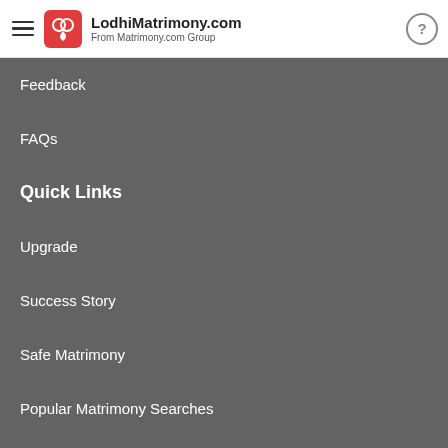LodhiMatrimony.com — From Matrimony.com Group
Feedback
FAQs
Quick Links
Upgrade
Success Story
Safe Matrimony
Popular Matrimony Searches
Terms and Conditions
Privacy Policy